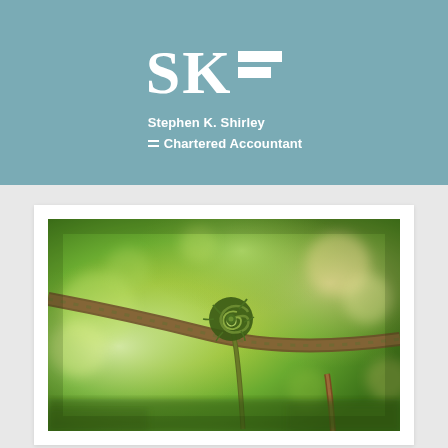[Figure (logo): Stephen K. Shirley Chartered Accountant logo with SK initials and horizontal bar motif on teal/blue-grey background]
[Figure (photo): Close-up macro photograph of a coiled fern frond (fiddlehead) unfurling against a blurred green bokeh background with a branch crossing diagonally]